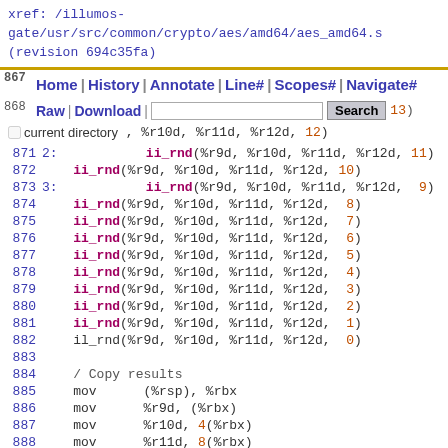xref: /illumos-gate/usr/src/common/crypto/aes/amd64/aes_amd64.s (revision 694c35fa)
Navigation bar: Home | History | Annotate | Line# | Scopes# | Navigate# | Raw | Download | Search | current directory
867 Perform normal inverse rounds
868 1:  ii_rnd(..., 13)
869      ii_rnd(%r9d, %r10d, %r11d, %r12d, 12)
870 (label)
871 2:  ii_rnd(%r9d, %r10d, %r11d, %r12d, 11)
872      ii_rnd(%r9d, %r10d, %r11d, %r12d, 10)
873 3:  ii_rnd(%r9d, %r10d, %r11d, %r12d, 9)
874      ii_rnd(%r9d, %r10d, %r11d, %r12d, 8)
875      ii_rnd(%r9d, %r10d, %r11d, %r12d, 7)
876      ii_rnd(%r9d, %r10d, %r11d, %r12d, 6)
877      ii_rnd(%r9d, %r10d, %r11d, %r12d, 5)
878      ii_rnd(%r9d, %r10d, %r11d, %r12d, 4)
879      ii_rnd(%r9d, %r10d, %r11d, %r12d, 3)
880      ii_rnd(%r9d, %r10d, %r11d, %r12d, 2)
881      ii_rnd(%r9d, %r10d, %r11d, %r12d, 1)
882      il_rnd(%r9d, %r10d, %r11d, %r12d, 0)
883
884      / Copy results
885      mov      (%rsp), %rbx
886      mov      %r9d, (%rbx)
887      mov      %r10d, 4(%rbx)
888      mov      %r11d, 8(%rbx)
889      mov      %r12d, 12(%rbx)
890      xor      %rax, %rax
891 4:   / Restore registers
892      mov      ...